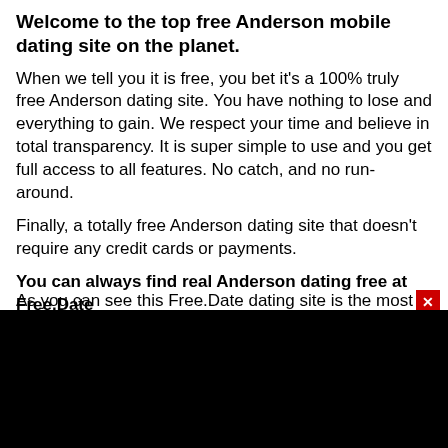Welcome to the top free Anderson mobile dating site on the planet.
When we tell you it is free, you bet it’s a 100% truly free Anderson dating site. You have nothing to lose and everything to gain. We respect your time and believe in total transparency. It is super simple to use and you get full access to all features. No catch, and no run-around.
Finally, a totally free Anderson dating site that doesn’t require any credit cards or payments.
You can always find real Anderson dating free at Free.Date
As you can see this Free.Date dating site is the most simple...